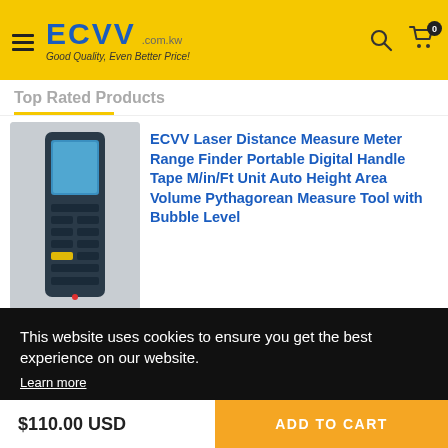ECVV .com.kw Good Quality, Even Better Price!
Top Rated Products
[Figure (photo): ECVV Laser Distance Measure Meter product photo showing a handheld digital device]
ECVV Laser Distance Measure Meter Range Finder Portable Digital Handle Tape M/in/Ft Unit Auto Height Area Volume Pythagorean Measure Tool with Bubble Level
This website uses cookies to ensure you get the best experience on our website. Learn more
1
$110.00 USD
ADD TO CART